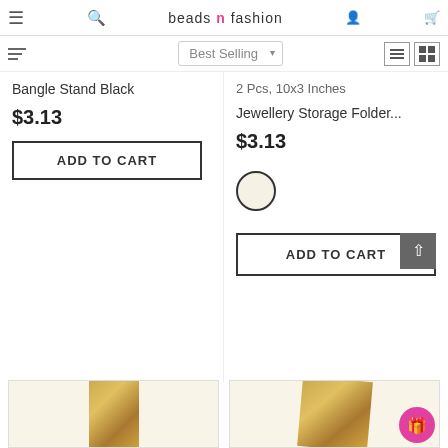beads n fashion
Best Selling
Bangle Stand Black
$3.13
ADD TO CART
2 Pcs, 10x3 Inches
Jewellery Storage Folder...
$3.13
ADD TO CART
[Figure (photo): Gold colored rectangular jewelry display tray, upright]
[Figure (photo): Gold colored square jewelry display tray, flat, with pink gift badge]